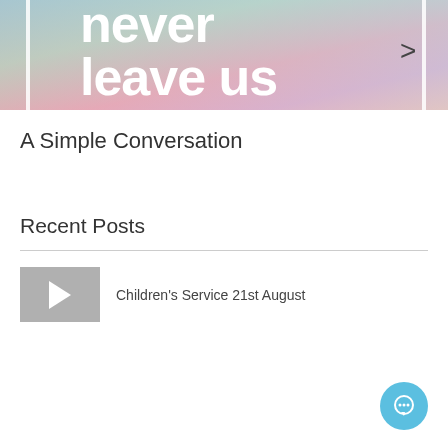[Figure (illustration): Colorful gradient banner with large white text reading 'never leave us' and a right arrow chevron on the right side. A vertical white line bar is on the left edge.]
A Simple Conversation
Recent Posts
[Figure (screenshot): Gray video thumbnail with a white play button triangle icon]
Children's Service 21st August
[Figure (other): Light blue circular chat/message bubble button in bottom right corner]